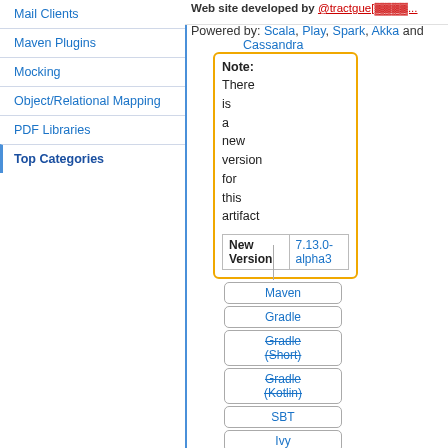Mail Clients
Maven Plugins
Mocking
Object/Relational Mapping
PDF Libraries
Top Categories
Web site developed by @tractgue[truncated]
Powered by: Scala, Play, Spark, Akka and Cassandra
Note: There is a new version for this artifact
| New Version |  |
| --- | --- |
| New Version | 7.13.0-alpha3 |
Maven
Gradle
Gradle (Short)
Gradle (Kotlin)
SBT
Ivy
Grape
Leiningen